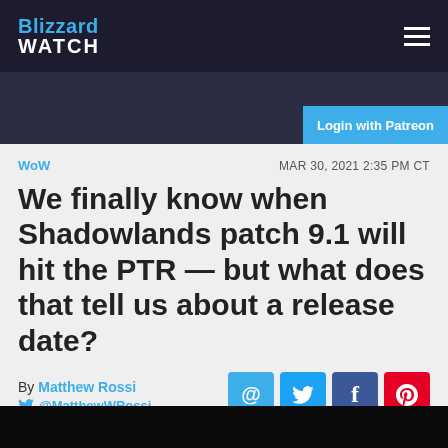Blizzard WATCH
Login with Patreon
WoW   MAR 30, 2021 2:35 PM CT
We finally know when Shadowlands patch 9.1 will hit the PTR — but what does that tell us about a release date?
By Matthew Rossi @MatthewWRossi
[Figure (screenshot): Dark screenshot strip at the bottom of the page]